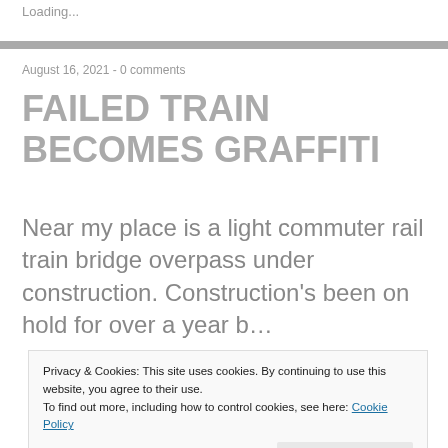Loading...
FAILED TRAIN BECOMES GRAFFITI
Near my place is a light commuter rail train bridge overpass under construction. Construction's been on hold for over a year b… a… p… b… t…
Privacy & Cookies: This site uses cookies. By continuing to use this website, you agree to their use.
To find out more, including how to control cookies, see here: Cookie Policy
Close and accept